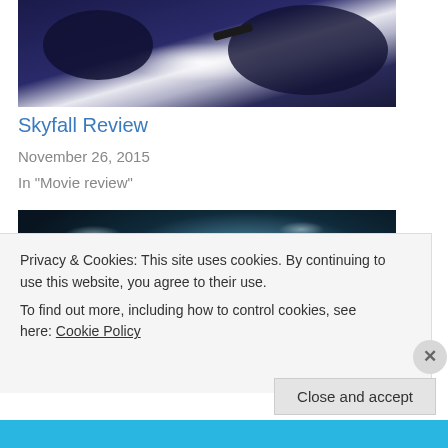[Figure (photo): Action scene from Skyfall showing two figures fighting, one holding a gun, dark blue tones with light burst]
Skyfall Review
November 26, 2015
In "Movie review"
[Figure (photo): Daniel Craig as James Bond in close-up, dark teal background with bokeh lights]
Privacy & Cookies: This site uses cookies. By continuing to use this website, you agree to their use.
To find out more, including how to control cookies, see here: Cookie Policy
Close and accept